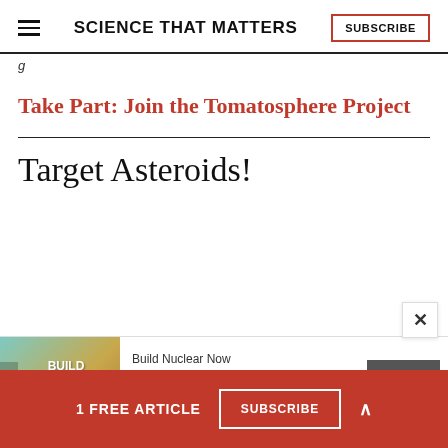SCIENCE THAT MATTERS | SUBSCRIBE
g
Take Part: Join the Tomatosphere Project
Target Asteroids!
[Figure (screenshot): Advertisement banner: Build Nuclear Now - Clean. Secure. Homegrown. with Open button]
1 FREE ARTICLE  SUBSCRIBE